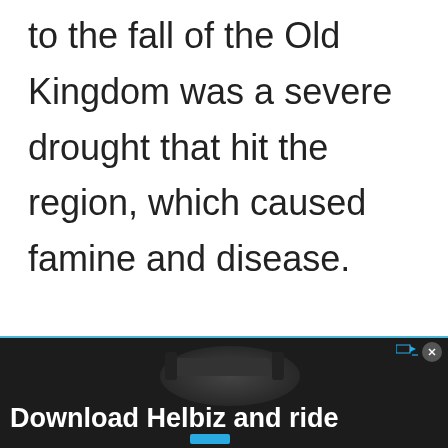to the fall of the Old Kingdom was a severe drought that hit the region, which caused famine and disease.
[Figure (photo): Advertisement banner showing a scooter/bicycle handlebar with text 'Download Helbiz and ride'. Dark background with blue accent color. Close button and ad indicator icons in top right corner.]